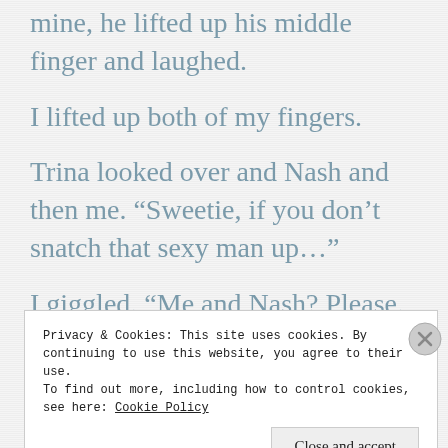mine, he lifted up his middle finger and laughed.
I lifted up both of my fingers.
Trina looked over and Nash and then me. “Sweetie, if you don’t snatch that sexy man up…”
I giggled. “Me and Nash? Please. Ew.”
Privacy & Cookies: This site uses cookies. By continuing to use this website, you agree to their use.
To find out more, including how to control cookies, see here: Cookie Policy
Close and accept